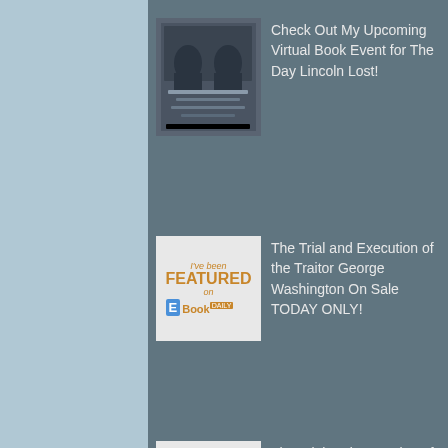Check Out My Upcoming Virtual Book Event for The Day Lincoln Lost!
The Trial and Execution of the Traitor George Washington On Sale TODAY ONLY!
The Trial and Execution of the Traitor George Washington Discounted on EBookDaily Toda…
My Newest Novel The Day